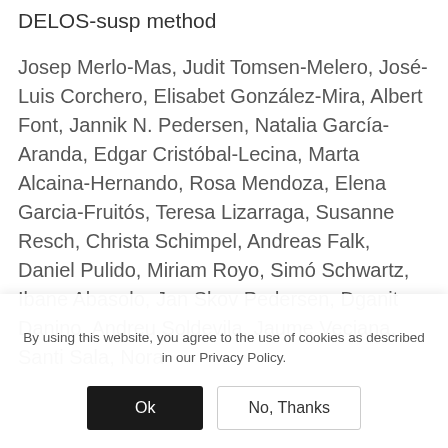DELOS-susp method
Josep Merlo-Mas, Judit Tomsen-Melero, José-Luis Corchero, Elisabet González-Mira, Albert Font, Jannik N. Pedersen, Natalia García-Aranda, Edgar Cristóbal-Lecina, Marta Alcaina-Hernando, Rosa Mendoza, Elena Garcia-Fruitós, Teresa Lizarraga, Susanne Resch, Christa Schimpel, Andreas Falk, Daniel Pulido, Miriam Royo, Simó Schwartz, Ibane Abasolo, Jan Skov Pedersen, Dganit Danino, Andreu Soldevila, Jaume Veciana, Santi Sala, Nora
By using this website, you agree to the use of cookies as described in our Privacy Policy.